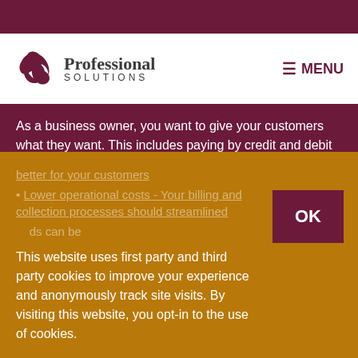Professional Solutions — MENU
As a business owner, you want to give your customers what they want. This includes paying by credit and debit card. But, that's just one reason of many to accept these payment options:
Better service - More payment options are better for your customers
Lower operational costs - Your billing and collection processes should streamlined
ds can be
This website uses first party and third party cookies to improve your experience and anonymously track site visits. By visiting this website, you opt-in to the use of cookies.